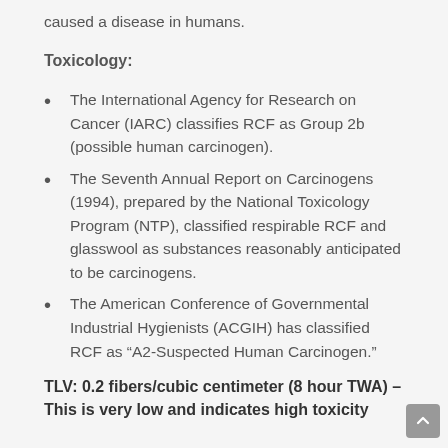caused a disease in humans.
Toxicology:
The International Agency for Research on Cancer (IARC) classifies RCF as Group 2b (possible human carcinogen).
The Seventh Annual Report on Carcinogens (1994), prepared by the National Toxicology Program (NTP), classified respirable RCF and glasswool as substances reasonably anticipated to be carcinogens.
The American Conference of Governmental Industrial Hygienists (ACGIH) has classified RCF as “A2-Suspected Human Carcinogen.”
TLV: 0.2 fibers/cubic centimeter (8 hour TWA) – This is very low and indicates high toxicity